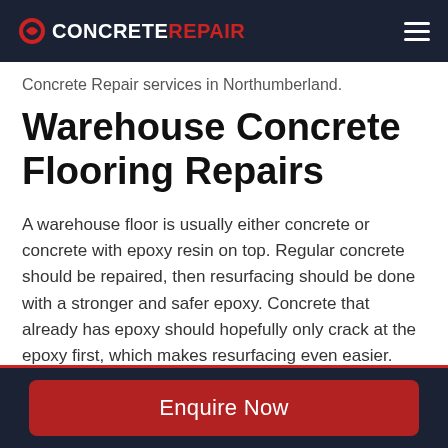CONCRETEREPAIR
Concrete Repair services in Northumberland.
Warehouse Concrete Flooring Repairs
A warehouse floor is usually either concrete or concrete with epoxy resin on top. Regular concrete should be repaired, then resurfacing should be done with a stronger and safer epoxy. Concrete that already has epoxy should hopefully only crack at the epoxy first, which makes resurfacing even easier.
Enquire Now